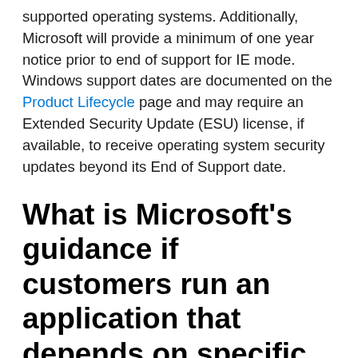supported operating systems. Additionally, Microsoft will provide a minimum of one year notice prior to end of support for IE mode. Windows support dates are documented on the Product Lifecycle page and may require an Extended Security Update (ESU) license, if available, to receive operating system security updates beyond its End of Support date.
What is Microsoft's guidance if customers run an application that depends on specific Internet Explorer runtime DLLs?